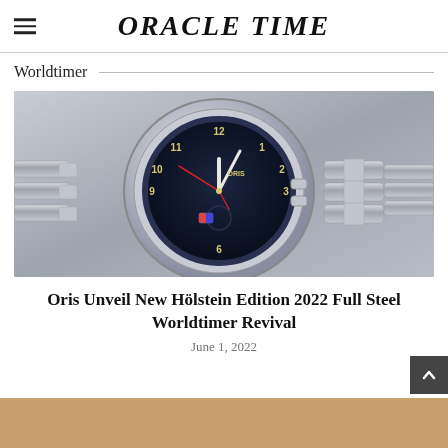ORACLE TIME
Worldtimer
[Figure (photo): Close-up photograph of an Oris worldtimer watch with a dark blue dial, yellow/gold numerals, red second hand accents, and a stainless steel bracelet, on a silver/grey brushed metal background.]
Oris Unveil New Hölstein Edition 2022 Full Steel Worldtimer Revival
June 1, 2022